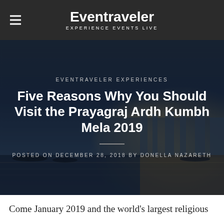Eventraveler — EXPERIENCE EVENTS LIVE
[Figure (photo): Hero image of Prayagraj waterfront at dusk with boats, city lights reflected on water, dark blue-teal tones with warm golden glow on the right side]
EVENTRAVELER EXPERIENCES
Five Reasons Why You Should Visit the Prayagraj Ardh Kumbh Mela 2019
POSTED ON DECEMBER 28, 2018 BY DONELLA NAZARETH
Come January 2019 and the world's largest religious